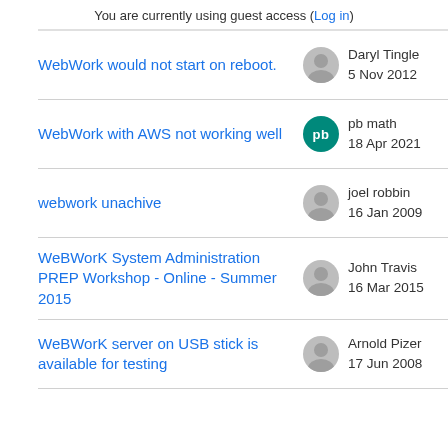You are currently using guest access (Log in)
WebWork would not start on reboot. | Daryl Tingle | 5 Nov 2012
WebWork with AWS not working well | pb math | 18 Apr 2021
webwork unachive | joel robbin | 16 Jan 2009
WeBWorK System Administration PREP Workshop - Online - Summer 2015 | John Travis | 16 Mar 2015
WeBWorK server on USB stick is available for testing | Arnold Pizer | 17 Jun 2008